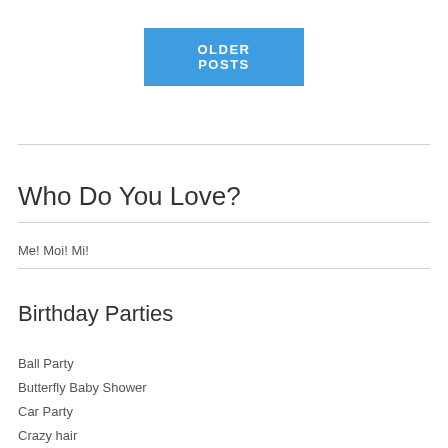OLDER POSTS
Who Do You Love?
Me! Moi! Mi!
Birthday Parties
Ball Party
Butterfly Baby Shower
Car Party
Crazy hair